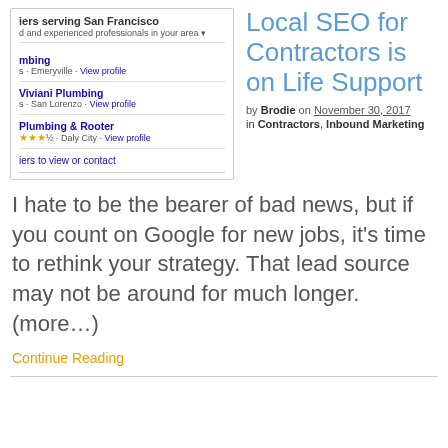[Figure (screenshot): Google local services listing screenshot showing plumbing contractors serving San Francisco, including Viviani Plumbing (San Lorenzo) and Plumbing & Rooter (Daly City) with star ratings and View profile links]
Local SEO for Contractors is on Life Support
by Brodie on November 30, 2017 in Contractors, Inbound Marketing
I hate to be the bearer of bad news, but if you count on Google for new jobs, it's time to rethink your strategy. That lead source may not be around for much longer. (more…)
Continue Reading